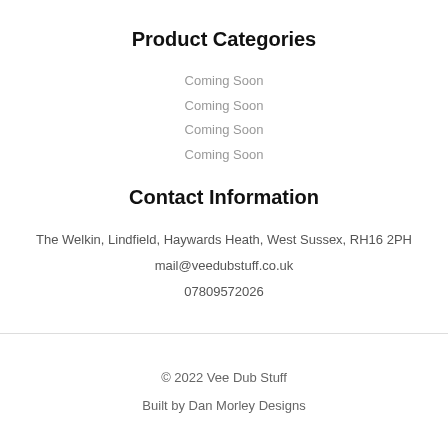Product Categories
Coming Soon
Coming Soon
Coming Soon
Coming Soon
Contact Information
The Welkin, Lindfield, Haywards Heath, West Sussex, RH16 2PH
mail@veedubstuff.co.uk
07809572026
© 2022 Vee Dub Stuff
Built by Dan Morley Designs